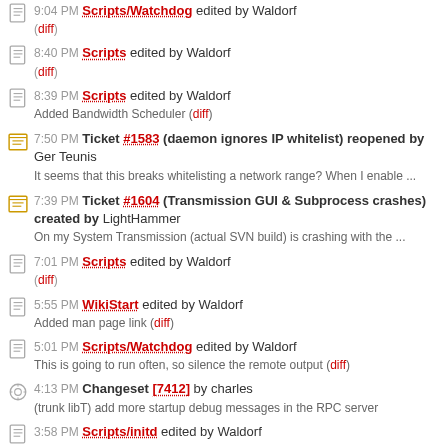9:04 PM Scripts/Watchdog edited by Waldorf (diff)
8:40 PM Scripts edited by Waldorf (diff)
8:39 PM Scripts edited by Waldorf
Added Bandwidth Scheduler (diff)
7:50 PM Ticket #1583 (daemon ignores IP whitelist) reopened by Ger Teunis
It seems that this breaks whitelisting a network range? When I enable ...
7:39 PM Ticket #1604 (Transmission GUI & Subprocess crashes) created by LightHammer
On my System Transmission (actual SVN build) is crashing with the ...
7:01 PM Scripts edited by Waldorf (diff)
5:55 PM WikiStart edited by Waldorf
Added man page link (diff)
5:01 PM Scripts/Watchdog edited by Waldorf
This is going to run often, so silence the remote output (diff)
4:13 PM Changeset [7412] by charles
(trunk libT) add more startup debug messages in the RPC server
3:58 PM Scripts/initd edited by Waldorf